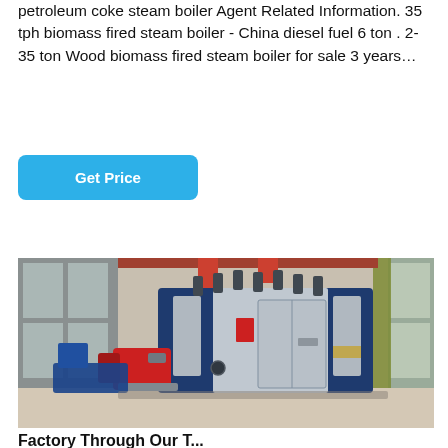petroleum coke steam boiler Agent Related Information. 35 tph biomass fired steam boiler - China diesel fuel 6 ton . 2-35 ton Wood biomass fired steam boiler for sale 3 years…
[Figure (photo): Industrial steam boiler unit — large blue and silver rectangular boiler system with red burner assembly on the left side, red and yellow pipes on top, installed in an industrial warehouse/factory building with windows in the background.]
Factory Through Our T...